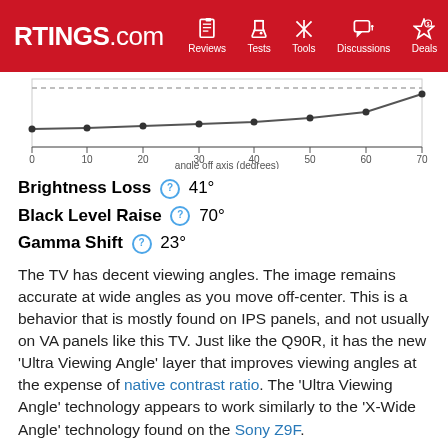RTINGS.com | Reviews | Tests | Tools | Discussions | Deals
[Figure (line-chart): Line chart showing brightness and black level vs angle off axis]
Brightness Loss  41°
Black Level Raise  70°
Gamma Shift  23°
The TV has decent viewing angles. The image remains accurate at wide angles as you move off-center. This is a behavior that is mostly found on IPS panels, and not usually on VA panels like this TV. Just like the Q90R, it has the new 'Ultra Viewing Angle' layer that improves viewing angles at the expense of native contrast ratio. The 'Ultra Viewing Angle' technology appears to work similarly to the 'X-Wide Angle' technology found on the Sony Z9F.